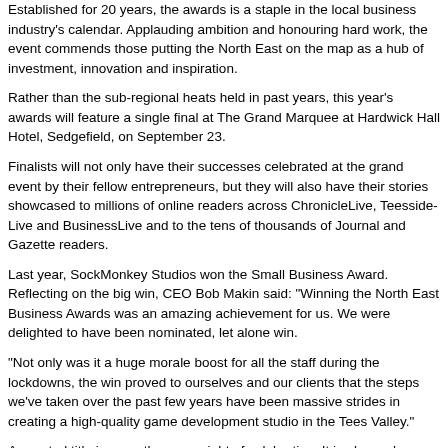Established for 20 years, the awards is a staple in the local business industry's calendar. Applauding ambition and honouring hard work, the event commends those putting the North East on the map as a hub of investment, innovation and inspiration.
Rather than the sub-regional heats held in past years, this year's awards will feature a single final at The Grand Marquee at Hardwick Hall Hotel, Sedgefield, on September 23.
Finalists will not only have their successes celebrated at the grand event by their fellow entrepreneurs, but they will also have their stories showcased to millions of online readers across ChronicleLive, Teesside-Live and BusinessLive and to the tens of thousands of Journal and Gazette readers.
Last year, SockMonkey Studios won the Small Business Award. Reflecting on the big win, CEO Bob Makin said: "Winning the North East Business Awards was an amazing achievement for us. We were delighted to have been nominated, let alone win.
"Not only was it a huge morale boost for all the staff during the lockdowns, the win proved to ourselves and our clients that the steps we've taken over the past few years have been massive strides in creating a high-quality game development studio in the Tees Valley."
A coveted title is more than one night of celebration. It is also a chance for all your team members to see their hard work deservedly admired and appreciated.